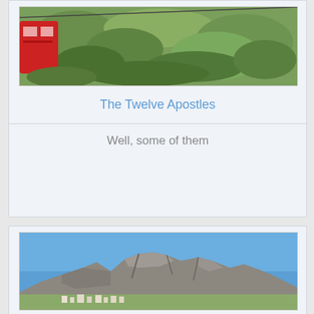[Figure (photo): Partial view of a red cable car with rocky hillside covered in green scrubby vegetation in the background — upper portion of image, cropped at top]
The Twelve Apostles
Well, some of them
[Figure (photo): Rocky mountain range (The Twelve Apostles, Cape Town) with clear blue sky above and residential buildings/trees at base]